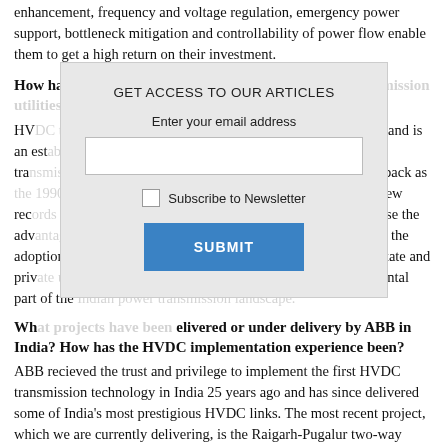enhancement, frequency and voltage regulation, emergency power support, bottleneck mitigation and controllability of power flow enable them to get a high return on their investment.
How has the uptake of HVDC technology by Indian transmission utilities been?
HVDC technology has been in existence for more than 60 years and is an established technology. In the 1980s and 1990s, the central transmission utilities in India adopted HVDC technology as far back as the 1990s. India has a long and proud track record of breaking new records in HVDC in the years since the 1990s and 2000s. Because the advantages of HVDC technology were well established in India, the adoption of the technology has been embraced by a number of state and private utilities, and HVDC transmission has become a fundamental part of the Indian power transmission landscape.
What projects have been delivered or under delivery by ABB in India? How has the HVDC implementation experience been?
ABB recieved the trust and privilege to implement the first HVDC transmission technology in India 25 years ago and has since delivered some of India's most prestigious HVDC links. The most recent project, which we are currently delivering, is the Raigarh-Pugalur two-way UHVDC link, which will enable the balancing of